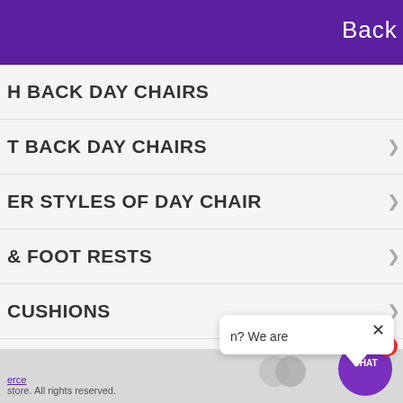Back k ⋮
H BACK DAY CHAIRS
T BACK DAY CHAIRS
ER STYLES OF DAY CHAIR
& FOOT RESTS
CUSHIONS
AR CUSHIONS
T HANDLING
ESS PROTECTORS & S
n? We are
erce
store. All rights reserved.